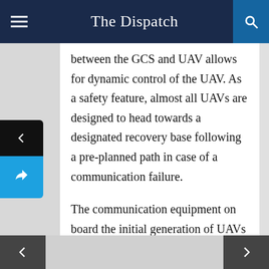The Dispatch
between the GCS and UAV allows for dynamic control of the UAV. As a safety feature, almost all UAVs are designed to head towards a designated recovery base following a pre-planned path in case of a communication failure.
The communication equipment on board the initial generation of UAVs had severe limitations in terms of antenna size and power. Therefore, the maximum effective range for controlled UAV operations was